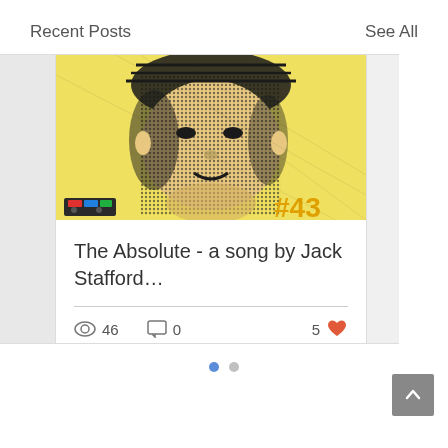Recent Posts
See All
[Figure (illustration): Pop-art style halftone portrait of a person with yellow background and '#43' text in bottom right corner, with a cassette tape graphic in bottom left]
The Absolute - a song by Jack Stafford…
46 views, 0 comments, 5 likes